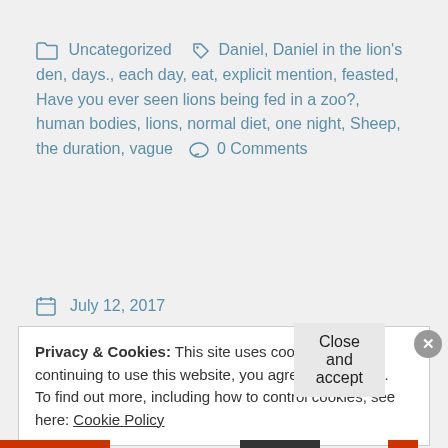Uncategorized  Daniel, Daniel in the lion's den, days., each day, eat, explicit mention, feasted, Have you ever seen lions being fed in a zoo?, human bodies, lions, normal diet, one night, Sheep, the duration, vague   0 Comments
July 12, 2017
Privacy & Cookies: This site uses cookies. By continuing to use this website, you agree to their use.
To find out more, including how to control cookies, see here: Cookie Policy
Close and accept